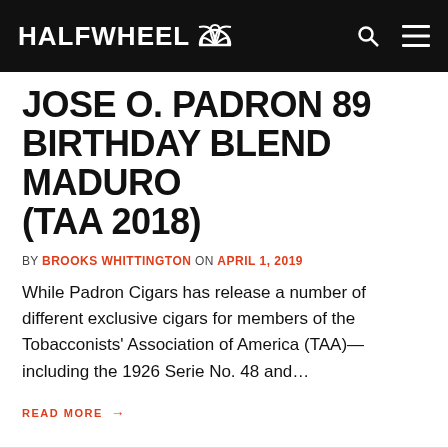HALFWHEEL
JOSE O. PADRON 89 BIRTHDAY BLEND MADURO (TAA 2018)
by BROOKS WHITTINGTON on APRIL 1, 2019
While Padron Cigars has release a number of different exclusive cigars for members of the Tobacconists' Association of America (TAA)—including the 1926 Serie No. 48 and…
READ MORE →